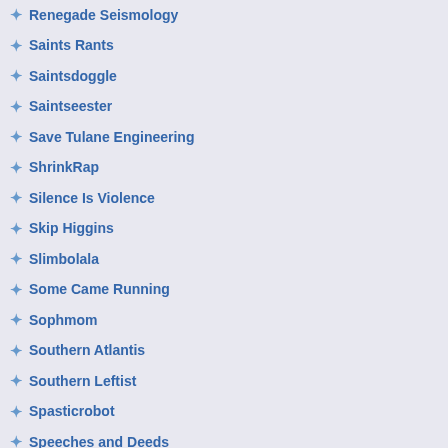Renegade Seismology
Saints Rants
Saintsdoggle
Saintseester
Save Tulane Engineering
ShrinkRap
Silence Is Violence
Skip Higgins
Slimbolala
Some Came Running
Sophmom
Southern Atlantis
Southern Leftist
Spasticrobot
Speeches and Deeds
Spocko' s Brain
Squandered Heritage
Suburbia
Suspect Device
trying to research into the m nothing.Congratulations to
Posted by: Recep | 26 May 20
What timing. I have been ha walk for that matter!). I dec The man helping me told m it's amazing your not haivng new pair of shoes, that will cautioned me from it becau in my little town!). I'm goin tuned in!!
Posted by: Werik | 26 May 20
You are bada$$. haha. How soihnemtg I shouldn't. I wa my first marathon is only w if you promise not to run ba for a girl about to do her fir
Posted by: Marisa | 26 May 20
SoGlam makes a good poin good idea to go ahead and T DON'T try it and then decio possible) to make the chang